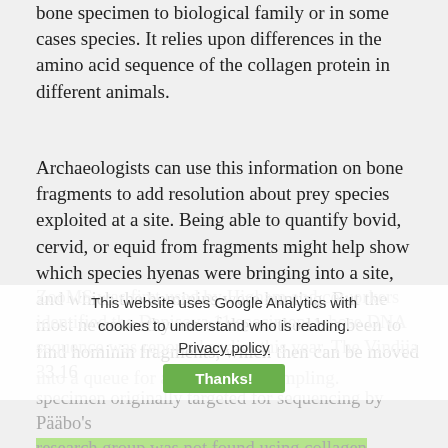bone specimen to biological family or in some cases species. It relies upon differences in the amino acid sequence of the collagen protein in different animals.
Archaeologists can use this information on bone fragments to add resolution about prey species exploited at a site. Being able to quantify bovid, cervid, or equid from fragments might help show which species hyenas were bringing into a site, and which the hominins were hunting. But the most newsworthy use of the method has been to find hominin fragments, which then can be moved into a queue for ancient DNA sampling.
ZooMS was first used by Higham and coworkers identified the Denisova 11 specimen, whose DNA sequence was reported earlier this year. The Vindija 33.16 specimen originally targeted for sequencing by Pääbo's research group was not found using collagen chemistry, but it had a similar history: a barely-identifiable bone fragment, it was assigned to the faunal collection and later